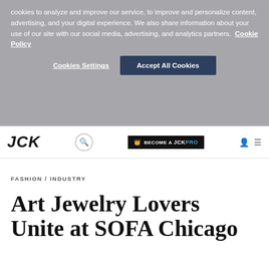cookies to analyze and improve our service, to improve and personalize content, advertising, and your digital experience. We also share information about your use of our site with our social media, advertising, and analytics partners. Cookie Policy
Cookies Settings | Accept All Cookies
[Figure (screenshot): JCK website navigation bar with logo, search icon, BECOME A JCKPRO button, user icon, and menu icon]
FASHION / INDUSTRY
Art Jewelry Lovers Unite at SOFA Chicago